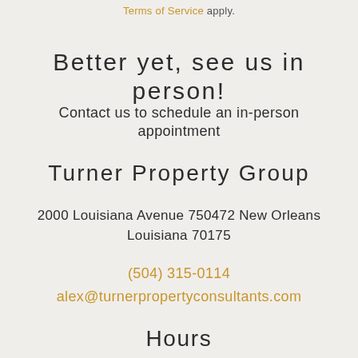Terms of Service apply.
Better yet, see us in person!
Contact us to schedule an in-person appointment
Turner Property Group
2000 Louisiana Avenue 750472 New Orleans Louisiana 70175
(504) 315-0114
alex@turnerpropertyconsultants.com
Hours